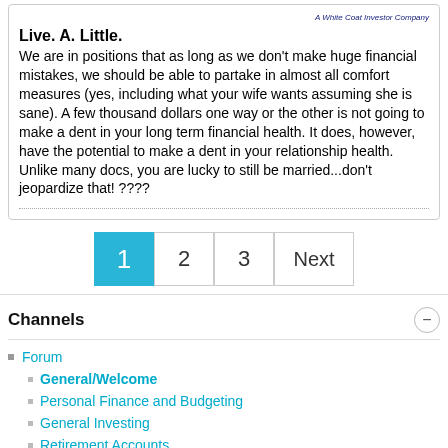A White Coat Investor Company
Live. A. Little.
We are in positions that as long as we don't make huge financial mistakes, we should be able to partake in almost all comfort measures (yes, including what your wife wants assuming she is sane). A few thousand dollars one way or the other is not going to make a dent in your long term financial health. It does, however, have the potential to make a dent in your relationship health. Unlike many docs, you are lucky to still be married...don't jeopardize that! ????
Channels
Forum
General/Welcome
Personal Finance and Budgeting
General Investing
Retirement Accounts
Insurance